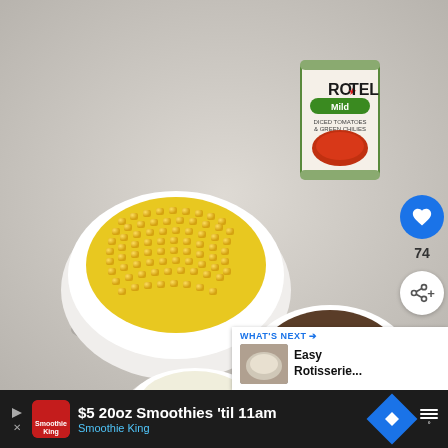[Figure (photo): Overhead flat-lay photo of taco/nacho ingredients on a light gray surface: a bowl of corn kernels, a can of Ro-Tel Mild Diced Tomatoes & Green Chilies, orange tortilla chips scattered in the center, a bowl of cooked ground beef, a can of Muir Glen Organic Tomato Sauce, a bowl of shredded cheese/cabbage, and a can of Full Circle brand product. UI overlays include a blue heart button with 74 likes, a share button, and a 'What's Next' panel showing 'Easy Rotisserie...' with a thumbnail.]
WHAT'S NEXT →
Easy Rotisserie...
$5 20oz Smoothies 'til 11am
Smoothie King